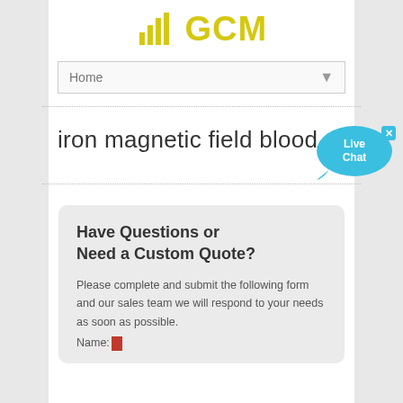[Figure (logo): GCM logo with bar chart icon in yellow/gold and text GCM]
[Figure (screenshot): Navigation dropdown showing Home with dropdown arrow]
iron magnetic field blood
[Figure (illustration): Live Chat speech bubble widget in blue]
Have Questions or Need a Custom Quote?
Please complete and submit the following form and our sales team we will respond to your needs as soon as possible.
Name: